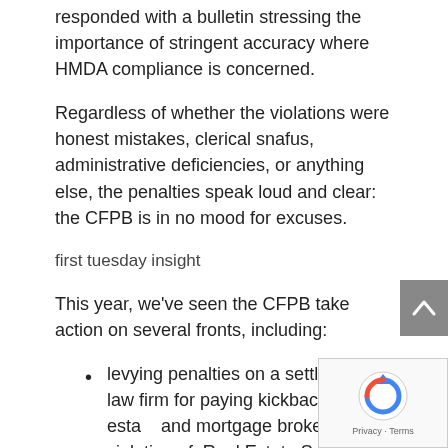responded with a bulletin stressing the importance of stringent accuracy where HMDA compliance is concerned.
Regardless of whether the violations were honest mistakes, clerical snafus, administrative deficiencies, or anything else, the penalties speak loud and clear: the CFPB is in no mood for excuses.
first tuesday insight
This year, we've seen the CFPB take action on several fronts, including:
levying penalties on a settlement law firm for paying kickbacks to real estate and mortgage brokers in violation of Real Estate Settlement Procedures Act...